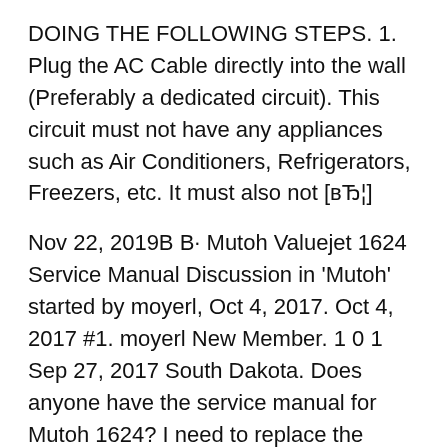DOING THE FOLLOWING STEPS. 1. Plug the AC Cable directly into the wall (Preferably a dedicated circuit). This circuit must not have any appliances such as Air Conditioners, Refrigerators, Freezers, etc. It must also not [вЂ¦]
Nov 22, 2019В В· Mutoh Valuejet 1624 Service Manual Discussion in 'Mutoh' started by moyerl, Oct 4, 2017. Oct 4, 2017 #1. moyerl New Member. 1 0 1 Sep 27, 2017 South Dakota. Does anyone have the service manual for Mutoh 1624? I need to replace the dampers. Please let me know as soon as you can. May 11, 2007 Corona, CA. I have the 1614, which should be Mutoh Valuejet 1614 Maintenance Download it. Simply click the button to. Available on the App. Download the